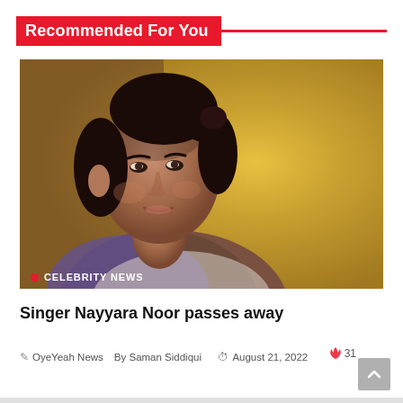Recommended For You
[Figure (photo): Portrait photo of singer Nayyara Noor against a golden/yellow background, with a celebrity news tag overlay at the bottom left]
Singer Nayyara Noor passes away
OyeYeah News  By Saman Siddiqui  August 21, 2022  31